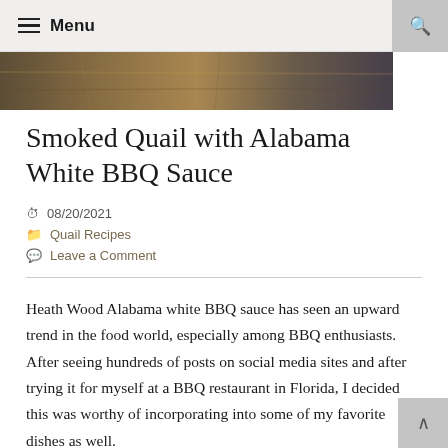Menu
[Figure (photo): Partial hero image showing smoked quail dish with wooden background, cropped at top]
Smoked Quail with Alabama White BBQ Sauce
08/20/2021
Quail Recipes
Leave a Comment
Heath Wood Alabama white BBQ sauce has seen an upward trend in the food world, especially among BBQ enthusiasts. After seeing hundreds of posts on social media sites and after trying it for myself at a BBQ restaurant in Florida, I decided this was worthy of incorporating into some of my favorite dishes as well.